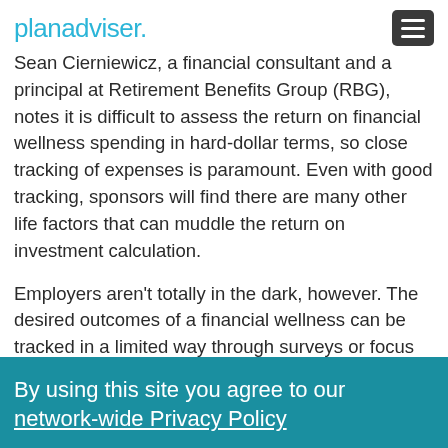planadviser.
Sean Cierniewicz, a financial consultant and a principal at Retirement Benefits Group (RBG), notes it is difficult to assess the return on financial wellness spending in hard-dollar terms, so close tracking of expenses is paramount. Even with good tracking, sponsors will find there are many other life factors that can muddle the return on investment calculation.
Employers aren't totally in the dark, however. The desired outcomes of a financial wellness can be tracked in a limited way through surveys or focus groups. Employers might not be able to filter out all
By using this site you agree to our network-wide Privacy Policy